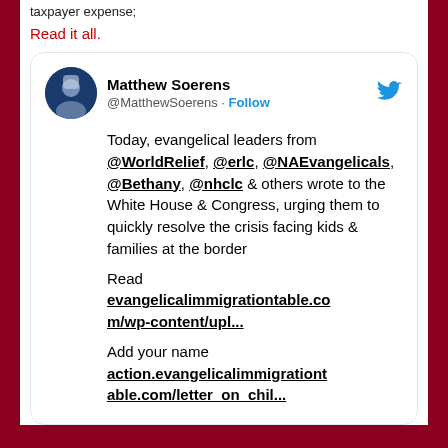taxpayer expense;
Read it all.
[Figure (screenshot): Embedded tweet from Matthew Soerens (@MatthewSoerens) with Follow button and Twitter bird icon. Tweet text: Today, evangelical leaders from @WorldRelief, @erlc, @NAEvangelicals, @Bethany, @nhclc & others wrote to the White House & Congress, urging them to quickly resolve the crisis facing kids & families at the border. Read evangelicalimmigrationtable.com/wp-content/upl... Add your name action.evangelicalimmigrationtable.com/letter_on_chil...]